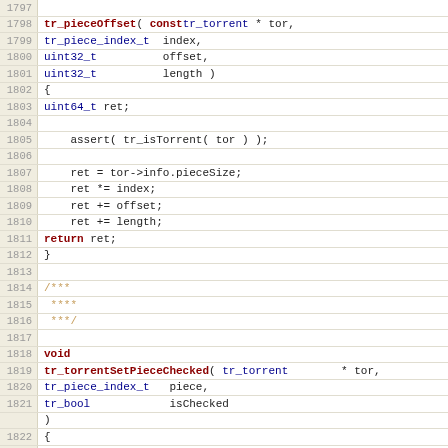[Figure (screenshot): Source code listing in C showing functions tr_pieceOffset and tr_torrentSetPieceChecked with line numbers 1797-1828]